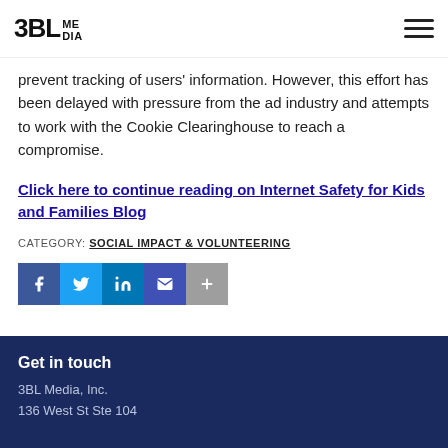3BL MEDIA
prevent tracking of users' information. However, this effort has been delayed with pressure from the ad industry and attempts to work with the Cookie Clearinghouse to reach a compromise.
Click here to continue reading on Internet Safety for Kids and Families Blog
CATEGORY: SOCIAL IMPACT & VOLUNTEERING
[Figure (infographic): Social share buttons: Facebook (blue), Twitter (light blue), LinkedIn (dark blue), Email (blue), More (gray)]
Get in touch
3BL Media, Inc.
136 West St Ste 104